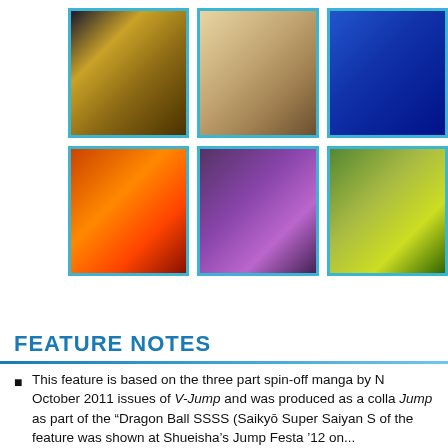[Figure (illustration): 3x3 grid of anime screenshots from Dragon Ball feature, showing various characters in action scenes with colorful backgrounds. Images have blue borders.]
FEATURE NOTES
This feature is based on the three part spin-off manga by N... October 2011 issues of V-Jump and was produced as a colla... Jump as part of the “Dragon Ball SSSS (Saikyō Super Saiyan S... of the feature was shown at Shueisha’s Jump Festa ’12 on...